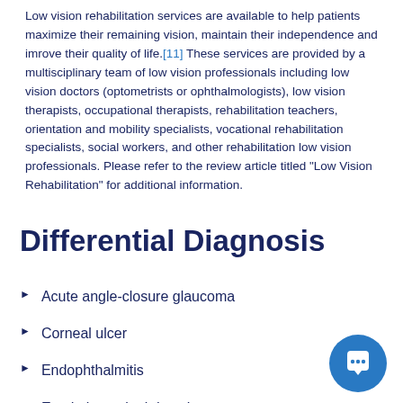Low vision rehabilitation services are available to help patients maximize their remaining vision, maintain their independence and imrove their quality of life.[11] These services are provided by a multisciplinary team of low vision professionals including low vision doctors (optometrists or ophthalmologists), low vision therapists, occupational therapists, rehabilitation teachers, orientation and mobility specialists, vocational rehabilitation specialists, social workers, and other rehabilitation low vision professionals. Please refer to the review article titled "Low Vision Rehabilitation" for additional information.
Differential Diagnosis
Acute angle-closure glaucoma
Corneal ulcer
Endophthalmitis
Exudative retinal detachment